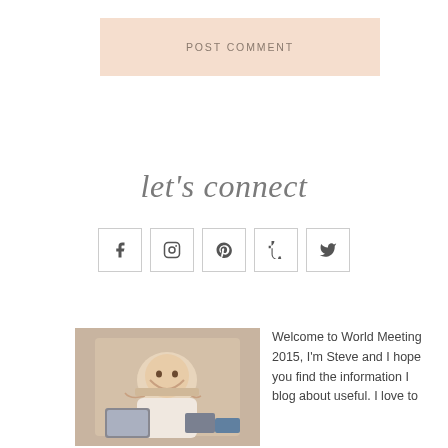POST COMMENT
let's connect
[Figure (infographic): Five social media icon buttons in square boxes: Facebook (f), Instagram (camera), Pinterest (p), Tumblr (t), Twitter (bird)]
[Figure (photo): Young man lying on the floor smiling with hands behind head, laptop and books around him]
Welcome to World Meeting 2015, I'm Steve and I hope you find the information I blog about useful. I love to